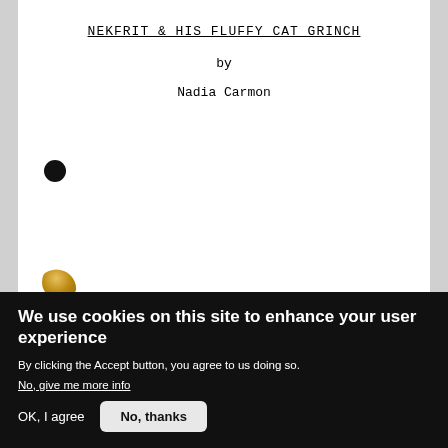NEKFRIT & HIS FLUFFY CAT GRINCH
by
Nadia Carmon
[Figure (illustration): Black filled circle bullet on left margin of document page]
[Figure (illustration): Partial gold/bronze circle visible at bottom-left of document area]
We use cookies on this site to enhance your user experience
By clicking the Accept button, you agree to us doing so.
No, give me more info
OK, I agree
No, thanks